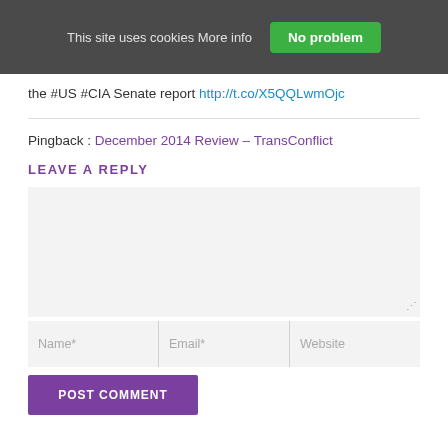This site uses cookies More info   No problem
the #US #CIA Senate report http://t.co/X5QQLwmOjc
Pingback : December 2014 Review – TransConflict
LEAVE A REPLY
[Comment text area]
Name*   Email*   Website
POST COMMENT